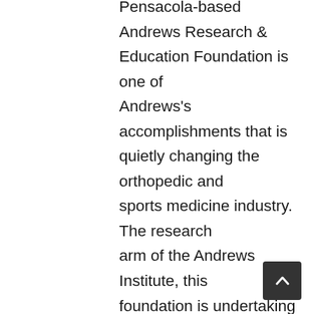Pensacola-based Andrews Research & Education Foundation is one of Andrews's accomplishments that is quietly changing the orthopedic and sports medicine industry. The research arm of the Andrews Institute, this foundation is undertaking ground-breaking research normally reserved for major biotech companies or large universities.
One of the local doctors engaged in the research at AREF is Dr. Adam Anz. As a highly sought-after orthopedic surgeon, Anz works full time performing surgery